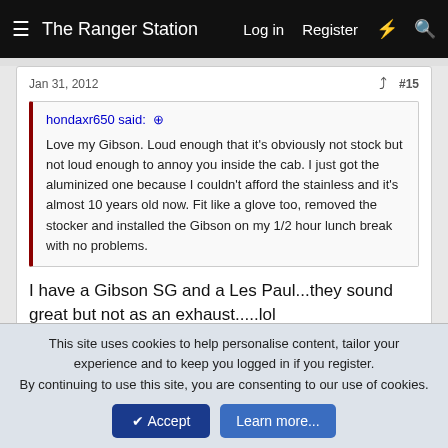The Ranger Station  Log in  Register
Jan 31, 2012  #15
hondaxr650 said: ↑
Love my Gibson. Loud enough that it's obviously not stock but not loud enough to annoy you inside the cab. I just got the aluminized one because I couldn't afford the stainless and it's almost 10 years old now. Fit like a glove too, removed the stocker and installed the Gibson on my 1/2 hour lunch break with no problems.
I have a Gibson SG and a Les Paul...they sound great but not as an exhaust.....lol
1 of 2  Next ▶  ▶▶
This site uses cookies to help personalise content, tailor your experience and to keep you logged in if you register.
By continuing to use this site, you are consenting to our use of cookies.